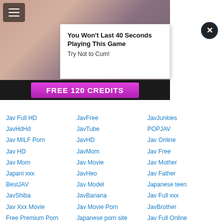[Figure (screenshot): Adult website advertisement banner with image and FREE 120 CREDITS button]
You Won't Last 40 Seconds Playing This Game
Try Not to Cum!
Jav Full HD
JavFree
JavJunkies
JavHdHd
JavTube
POPJAV
Jav MILF Porn
JavHD
Jav Online
Jav HD
JavMom
Jav Free
Jav Mom
Jav Movie
Jav Mother
Japani xxx
JavHeo
Jav Father
BestJAV
Jav Model
Japanese teen
JavShiba
JavBanana
Jav Full xxx
Jav Xxx Movie
Jav Movie Porn
JavBrother
Free Premium Porn
Japanese porn site
Jav Full Online
Jav Movie Online
Jav Full Video
Jav Video
Jav Chicken
PornJP
Japan sex full
Jav FUlllHD
Jav sex Japan
Drama JAV